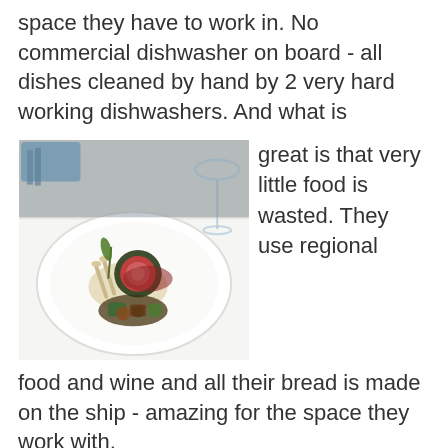space they have to work in. No commercial dishwasher on board - all dishes cleaned by hand by 2 very hard working dishwashers. And what is great is that very little food is wasted. They use regional food and wine and all their bread is made on the ship - amazing for the space they work with.
[Figure (photo): A gourmet dish served on a large white round plate: lamb chops with herb crust, pink cooked lamb medallion, mashed potato, roasted vegetables (zucchini, tomato), rosemary garnish, and a rich sauce. A wine glass is partially visible at the top right, and blue napkin/utensils at the top left. The plate is set on a white tablecloth.]